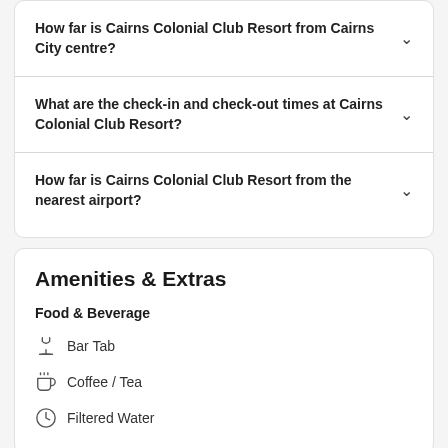How far is Cairns Colonial Club Resort from Cairns City centre?
What are the check-in and check-out times at Cairns Colonial Club Resort?
How far is Cairns Colonial Club Resort from the nearest airport?
Amenities & Extras
Food & Beverage
Bar Tab
Coffee / Tea
Filtered Water